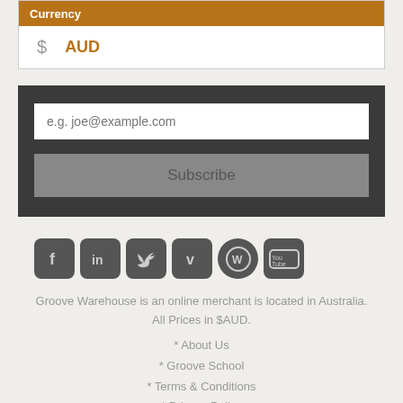Currency
| Symbol | Code |
| --- | --- |
| $ | AUD |
e.g. joe@example.com
Subscribe
[Figure (other): Social media icons row: Facebook, LinkedIn, Twitter, Vimeo, WordPress, YouTube]
Groove Warehouse is an online merchant is located in Australia. All Prices in $AUD.
* About Us
* Groove School
* Terms & Conditions
* Privacy Policy